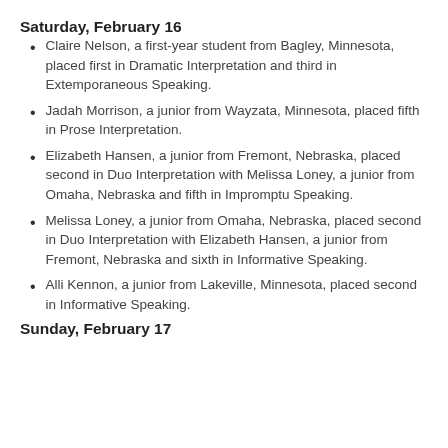Saturday, February 16
Claire Nelson, a first-year student from Bagley, Minnesota, placed first in Dramatic Interpretation and third in Extemporaneous Speaking.
Jadah Morrison, a junior from Wayzata, Minnesota, placed fifth in Prose Interpretation.
Elizabeth Hansen, a junior from Fremont, Nebraska, placed second in Duo Interpretation with Melissa Loney, a junior from Omaha, Nebraska and fifth in Impromptu Speaking.
Melissa Loney, a junior from Omaha, Nebraska, placed second in Duo Interpretation with Elizabeth Hansen, a junior from Fremont, Nebraska and sixth in Informative Speaking.
Alli Kennon, a junior from Lakeville, Minnesota, placed second in Informative Speaking.
Sunday, February 17